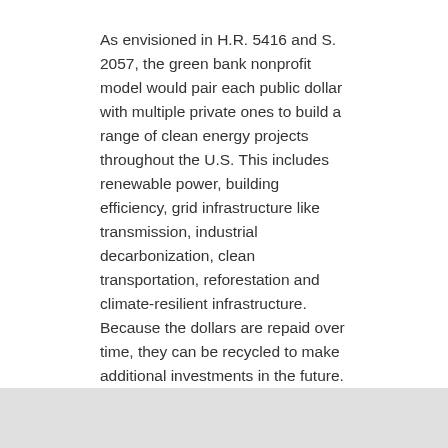As envisioned in H.R. 5416 and S. 2057, the green bank nonprofit model would pair each public dollar with multiple private ones to build a range of clean energy projects throughout the U.S. This includes renewable power, building efficiency, grid infrastructure like transmission, industrial decarbonization, clean transportation, reforestation and climate-resilient infrastructure. Because the dollars are repaid over time, they can be recycled to make additional investments in the future.
Recent national polling shows eight out of 10 Americans want Congress to create clean energy jobs and seven out of 10 support depositing billions to achieve this.
###